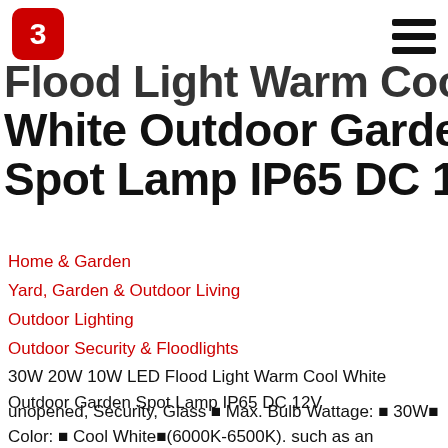Flood Light Warm Cool White Outdoor Garden Spot Lamp IP65 DC 12V
Home & Garden
Yard, Garden & Outdoor Living
Outdoor Lighting
Outdoor Security & Floodlights
30W 20W 10W LED Flood Light Warm Cool White Outdoor Garden Spot Lamp IP65 DC 12V
unopened, Security, Glass ■ Max. Bulb Wattage: ■ 30W■ Color: ■ Cool White■(6000K-6500K). such as an unprinted